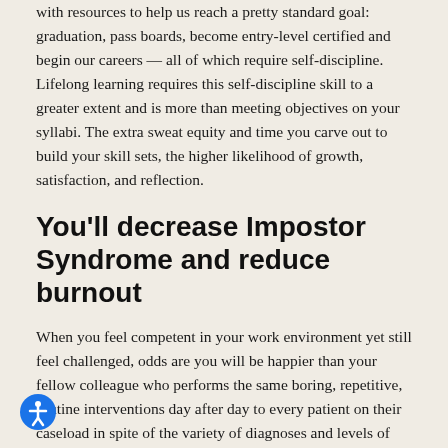with resources to help us reach a pretty standard goal: graduation, pass boards, become entry-level certified and begin our careers — all of which require self-discipline. Lifelong learning requires this self-discipline skill to a greater extent and is more than meeting objectives on your syllabi. The extra sweat equity and time you carve out to build your skill sets, the higher likelihood of growth, satisfaction, and reflection.
You'll decrease Impostor Syndrome and reduce burnout
When you feel competent in your work environment yet still feel challenged, odds are you will be happier than your fellow colleague who performs the same boring, repetitive, routine interventions day after day to every patient on their caseload in spite of the variety of diagnoses and levels of assistance needed per patient.
Challenging yourself to learn something out of